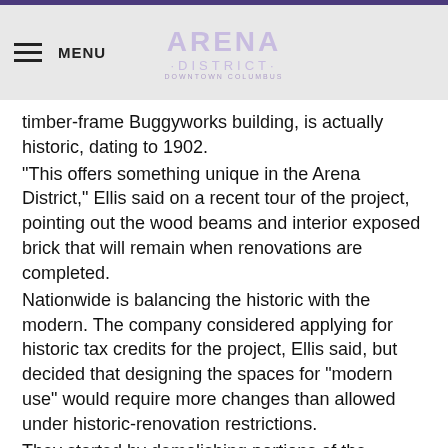MENU | ARENA DISTRICT
timber-frame Buggyworks building, is actually historic, dating to 1902. “This offers something unique in the Arena District,” Ellis said on a recent tour of the project, pointing out the wood beams and interior exposed brick that will remain when renovations are completed. Nationwide is balancing the historic with the modern. The company considered applying for historic tax credits for the project, Ellis said, but decided that designing the spaces for “modern use” would require more changes than allowed under historic-renovation restrictions. They started by demolishing portions of the buildings that had been added on over the years and that blocked windows. Now there are sweeping views of Downtown and natural light. The brick walls weren't insulated, which typically would mean that insulation would be added on the inside and covered with